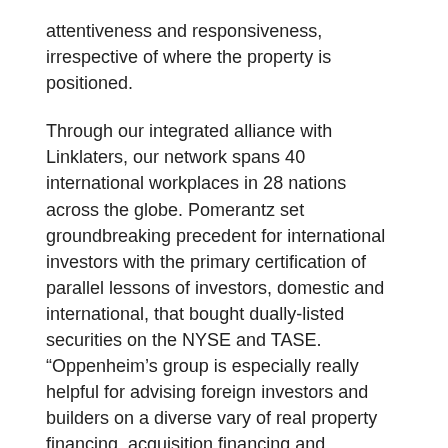attentiveness and responsiveness, irrespective of where the property is positioned.
Through our integrated alliance with Linklaters, our network spans 40 international workplaces in 28 nations across the globe. Pomerantz set groundbreaking precedent for international investors with the primary certification of parallel lessons of investors, domestic and international, that bought dually-listed securities on the NYSE and TASE. “Oppenheim’s group is especially really helpful for advising foreign investors and builders on a diverse vary of real property financing, acquisition financing and renewable vitality project financing.” “Impressive group handling market-leading mandates in the oil, fuel, electricity and renewable sectors, supported by excellent regulatory expertise. Baker McKenzie didn’t directly reply to many questions about its role in the offshore financial system or why its name seems so